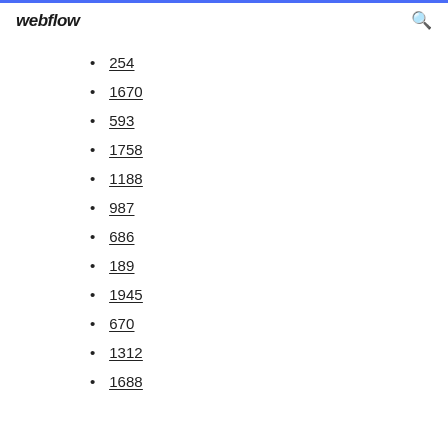webflow
254
1670
593
1758
1188
987
686
189
1945
670
1312
1688